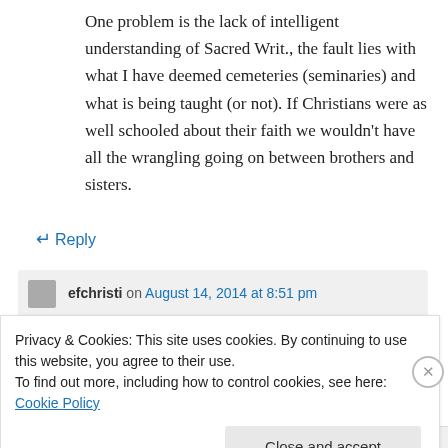One problem is the lack of intelligent understanding of Sacred Writ., the fault lies with what I have deemed cemeteries (seminaries) and what is being taught (or not). If Christians were as well schooled about their faith we wouldn't have all the wrangling going on between brothers and sisters.
↵ Reply
efchristi on August 14, 2014 at 8:51 pm
Privacy & Cookies: This site uses cookies. By continuing to use this website, you agree to their use.
To find out more, including how to control cookies, see here: Cookie Policy
Close and accept